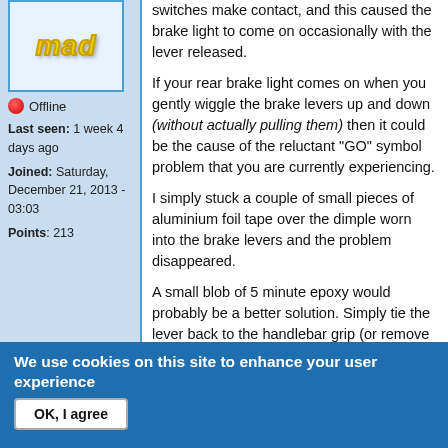[Figure (illustration): Avatar image showing stylized yellow italic bold text 'mad' with shadow effect on light blue background]
Offline
Last seen: 1 week 4 days ago
Joined: Saturday, December 21, 2013 - 03:03
Points: 213
switches make contact, and this caused the brake light to come on occasionally with the lever released.
If your rear brake light comes on when you gently wiggle the brake levers up and down (without actually pulling them) then it could be the cause of the reluctant "GO" symbol problem that you are currently experiencing.
I simply stuck a couple of small pieces of aluminium foil tape over the dimple worn into the brake levers and the problem disappeared.
A small blob of 5 minute epoxy would probably be a better solution. Simply tie the lever back to the handlebar grip (or remove
We use cookies on this site to enhance your user experience
By clicking any link on this page you are giving your consent for us to set cookies.
No, give me more info
OK, I agree